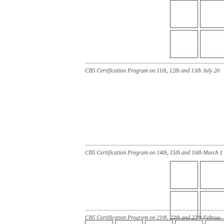|  |  |  |  |  |
|  |  |  |  |  |
CB5 Certification Program on 11th, 12th and 13th July 20...
|  |  |  |  |  |
|  |  |  |  |  |
CB5 Certification Program on 14th, 15th and 16th March ...
|  |  |  |  |  |
|  |  |  |
CB5 Certification Program on 21th, 22th and 23th Februa...
|  |  |  |  |  |